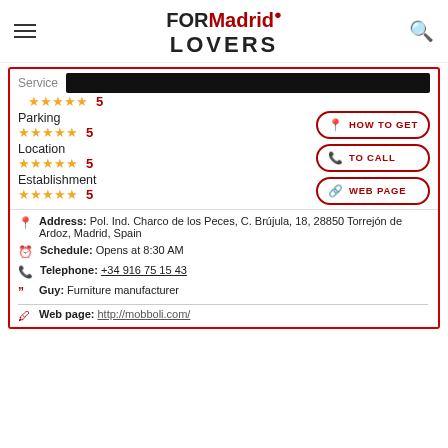[Figure (logo): FORMadrid LOVERS logo with location pin icon]
Service ★★★★★ 5
Parking ★★★★★ 5
Location ★★★★★ 5
Establishment ★★★★★ 5
HOW TO GET
TO CALL
WEB PAGE
Address: Pol. Ind. Charco de los Peces, C. Brújula, 18, 28850 Torrejón de Ardoz, Madrid, Spain
Schedule: Opens at 8:30 AM
Telephone: +34 916 75 15 43
Guy: Furniture manufacturer
Web page: http://mobboli.com/